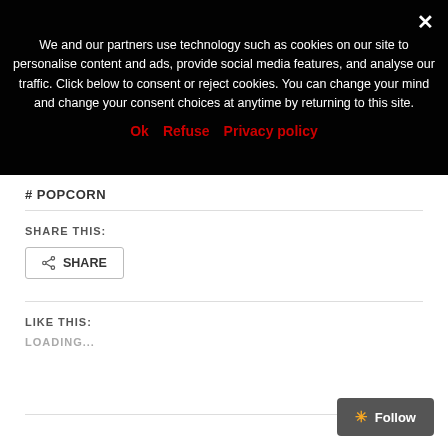We and our partners use technology such as cookies on our site to personalise content and ads, provide social media features, and analyse our traffic. Click below to consent or reject cookies. You can change your mind and change your consent choices at anytime by returning to this site.
Ok   Refuse   Privacy policy
# POPCORN
SHARE THIS:
SHARE
LIKE THIS:
LOADING...
Follow